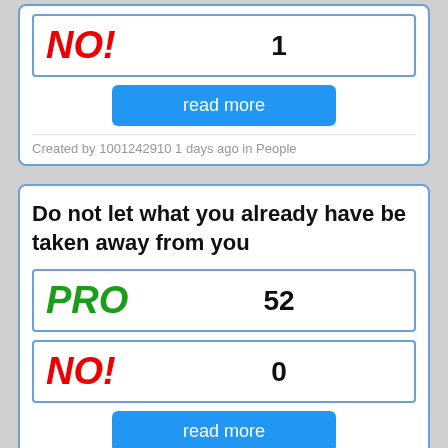| Vote | Count |
| --- | --- |
| NO! | 1 |
read more
Created by 1001242910 1 days ago in People
Do not let what you already have be taken away from you
| Vote | Count |
| --- | --- |
| PRO | 52 |
| NO! | 0 |
read more